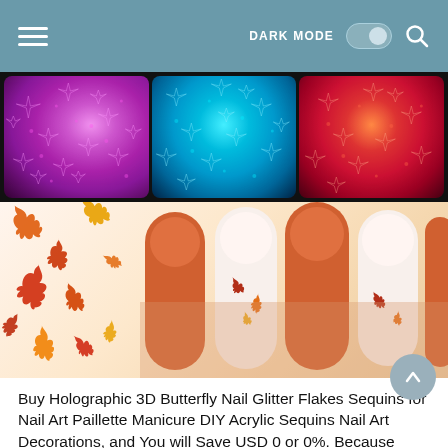DARK MODE [toggle] [search icon]
[Figure (photo): Three boxes of holographic glitter nail flakes in pink/purple, blue/teal, and orange/red colors displayed against black background]
[Figure (photo): Orange manicured nails with autumn maple leaf sequin decorations on white accent nails, surrounded by scattered orange and red maple leaf glitter pieces]
Buy Holographic 3D Butterfly Nail Glitter Flakes Sequins for Nail Art Paillette Manicure DIY Acrylic Sequins Nail Art Decorations, and You will Save USD 0 or 0%. Because